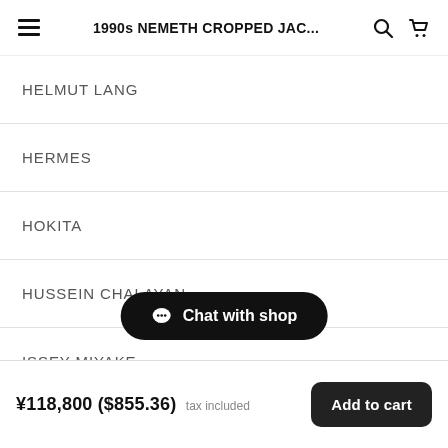1990s NEMETH CROPPED JAC...
HELMUT LANG
HERMES
HOKITA
HUSSEIN CHALAYAN
ISSEY MIYAKE
JAKOB HETZER
JEAN COLONNA
Chat with shop
¥118,800 ($855.36) tax included  Add to cart